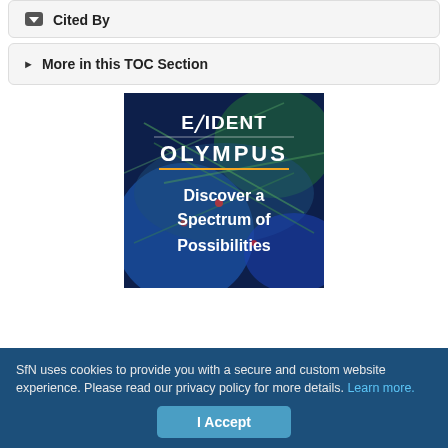Cited By||
▶ More in this TOC Section
[Figure (illustration): Evident Olympus advertisement showing a fluorescence microscopy image background with text: EVIDENT OLYMPUS Discover a Spectrum of Possibilities]
SfN uses cookies to provide you with a secure and custom website experience. Please read our privacy policy for more details. Learn more.
I Accept